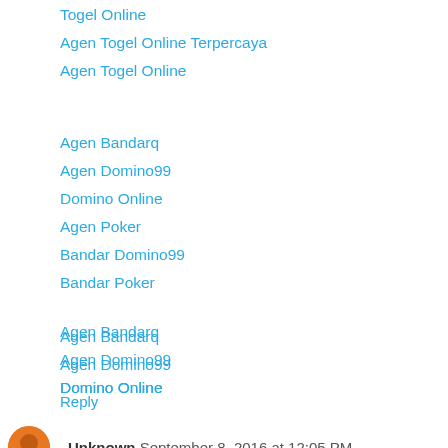Togel Online
Agen Togel Online Terpercaya
Agen Togel Online
Agen Bandarq
Agen Domino99
Domino Online
Agen Poker
Bandar Domino99
Bandar Poker
Agen Bandarq
Agen Domino99
Domino Online
Agen Poker
Bandar Domino99
Bandar Poker
Reply
Unknown  September 8, 2016 at 12:05 PM